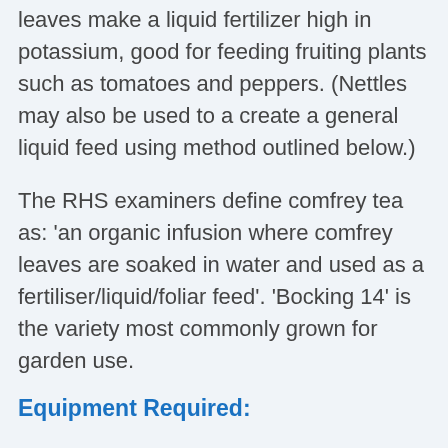leaves make a liquid fertilizer high in potassium, good for feeding fruiting plants such as tomatoes and peppers. (Nettles may also be used to a create a general liquid feed using method outlined below.)
The RHS examiners define comfrey tea as: 'an organic infusion where comfrey leaves are soaked in water and used as a fertiliser/liquid/foliar feed'. 'Bocking 14' is the variety most commonly grown for garden use.
Equipment Required:
[Figure (illustration): Illustration of dried/brown mushroom or comfrey leaves, partially visible at bottom of page]